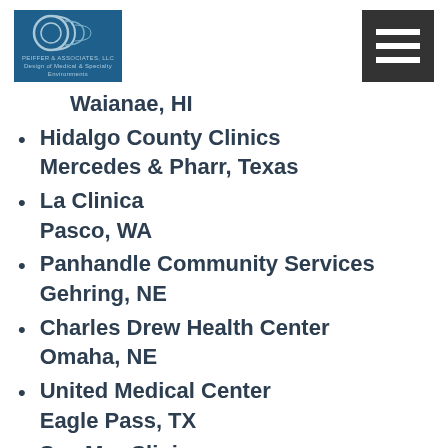[Figure (logo): Peiffer & Associates LLC logo with circular design on dark blue background]
Waianae, HI
Hidalgo County Clinics
Mercedes & Pharr, Texas
La Clinica
Pasco, WA
Panhandle Community Services
Gehring, NE
Charles Drew Health Center
Omaha, NE
United Medical Center
Eagle Pass, TX
Sea Mar Clinics
Seattle, WA
Salud Medical Center
Woodburn, OR